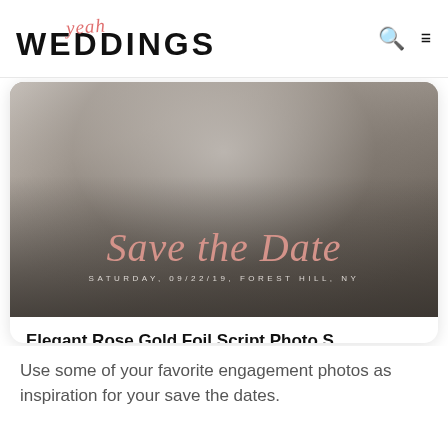yeah WEDDINGS
[Figure (photo): Save the Date card featuring a black-and-white engagement photo of a couple, with rose gold script text reading 'Save the Date' and caption 'SATURDAY, 09/22/19, FOREST HILL, NY']
Elegant Rose Gold Foil Script Photo S...
Published by Zazzle
Use some of your favorite engagement photos as inspiration for your save the dates.